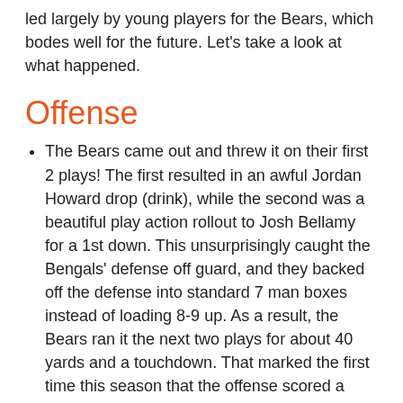led largely by young players for the Bears, which bodes well for the future. Let's take a look at what happened.
Offense
The Bears came out and threw it on their first 2 plays! The first resulted in an awful Jordan Howard drop (drink), while the second was a beautiful play action rollout to Josh Bellamy for a 1st down. This unsurprisingly caught the Bengals' defense off guard, and they backed off the defense into standard 7 man boxes instead of loading 8-9 up. As a result, the Bears ran it the next two plays for about 40 yards and a touchdown. That marked the first time this season that the offense scored a touchdown on their first possession of the game.
Before I get too down on Howard, how about giving it up for a great game from Chicago's stud running back? He had his 12th 100 yard rushing game in 26